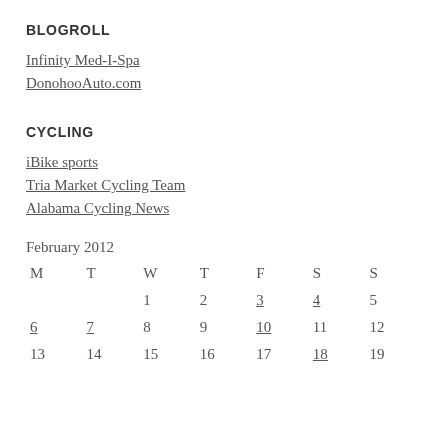BLOGROLL
Infinity Med-I-Spa
DonohooAuto.com
CYCLING
iBike sports
Tria Market Cycling Team
Alabama Cycling News
February 2012
| M | T | W | T | F | S | S |
| --- | --- | --- | --- | --- | --- | --- |
|  |  | 1 | 2 | 3 | 4 | 5 |
| 6 | 7 | 8 | 9 | 10 | 11 | 12 |
| 13 | 14 | 15 | 16 | 17 | 18 | 19 |